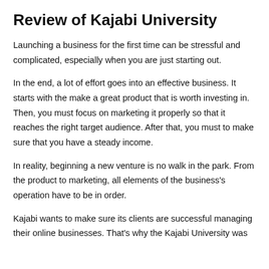Review of Kajabi University
Launching a business for the first time can be stressful and complicated, especially when you are just starting out.
In the end, a lot of effort goes into an effective business. It starts with the make a great product that is worth investing in. Then, you must focus on marketing it properly so that it reaches the right target audience. After that, you must to make sure that you have a steady income.
In reality, beginning a new venture is no walk in the park. From the product to marketing, all elements of the business's operation have to be in order.
Kajabi wants to make sure its clients are successful managing their online businesses. That's why the Kajabi University was